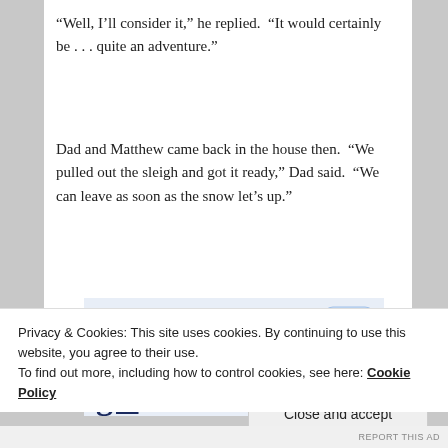“Well, I’ll consider it,” he replied.  “It would certainly be . . . quite an adventure.”
Dad and Matthew came back in the house then.  “We pulled out the sleigh and got it ready,” Dad said.  “We can leave as soon as the snow let’s up.”
[Figure (screenshot): WordPress app advertisement banner showing partial text 'Build a writing habit. Post on the go.' with a WordPress logo icon and 'GET THE APP' link in blue]
Privacy & Cookies: This site uses cookies. By continuing to use this website, you agree to their use.
To find out more, including how to control cookies, see here: Cookie Policy
Close and accept